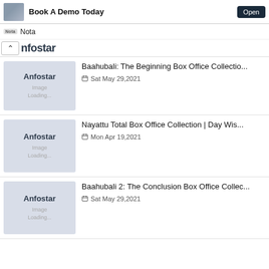[Figure (screenshot): Ad banner with photo, 'Book A Demo Today' title and 'Open' button]
Nota
nfostar (collapsed section header with up arrow)
Baahubali: The Beginning Box Office Collectio... Sat May 29,2021
Nayattu Total Box Office Collection | Day Wis... Mon Apr 19,2021
Baahubali 2: The Conclusion Box Office Collec... Sat May 29,2021